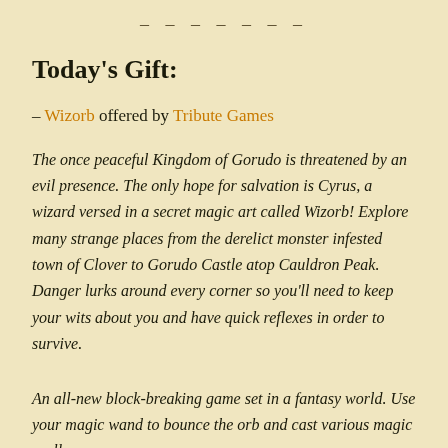– – – – – – –
Today's Gift:
– Wizorb offered by Tribute Games
The once peaceful Kingdom of Gorudo is threatened by an evil presence. The only hope for salvation is Cyrus, a wizard versed in a secret magic art called Wizorb! Explore many strange places from the derelict monster infested town of Clover to Gorudo Castle atop Cauldron Peak. Danger lurks around every corner so you'll need to keep your wits about you and have quick reflexes in order to survive.
An all-new block-breaking game set in a fantasy world. Use your magic wand to bounce the orb and cast various magic spells.
Block-breaking games, as Pong's descendants, are efficient